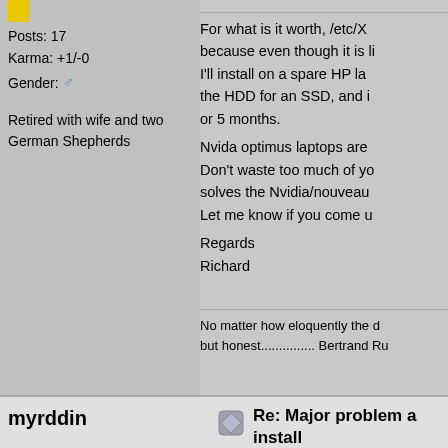[Figure (illustration): Yellow square user rank icon]
Posts: 17
Karma: +1/-0
Gender: ♂
Retired with wife and two German Shepherds
For what is it worth, /etc/X... because even though it is li... I'll install on a spare HP la... the HDD for an SSD, and i... or 5 months.
Nvida optimus laptops are ...
Don't waste too much of yo... solves the Nvidia/nouveau...
Let me know if you come u...
Regards
Richard
No matter how eloquently the d... but honest............... Bertrand Ru...
myrddin
Re: Major problem a... install